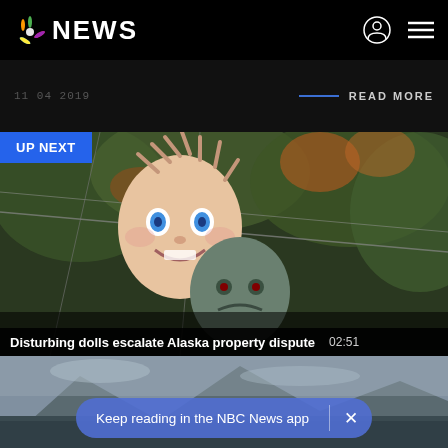NBC NEWS
READ MORE
[Figure (screenshot): NBC News video player showing disturbing dolls hanging in a garden/outdoor setting. Two creepy doll faces visible — one pink/flesh-toned with spiky hair, one grey/green — surrounded by foliage. 'UP NEXT' badge in top left corner. Video title: 'Disturbing dolls escalate Alaska property dispute' with duration 02:51.]
Disturbing dolls escalate Alaska property dispute   02:51
[Figure (photo): Outdoor scene showing mountainous rocky terrain with crowd of people below.]
Keep reading in the NBC News app